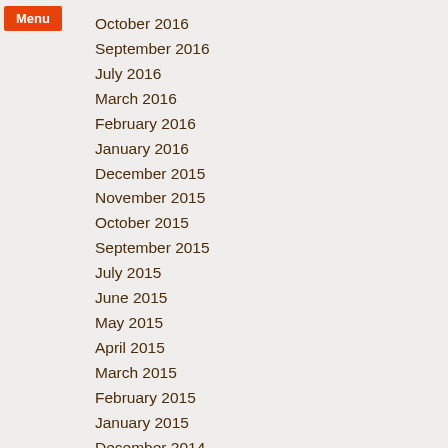October 2016
September 2016
July 2016
March 2016
February 2016
January 2016
December 2015
November 2015
October 2015
September 2015
July 2015
June 2015
May 2015
April 2015
March 2015
February 2015
January 2015
December 2014
November 2014
October 2014
September 2014
August 2014
July 2014